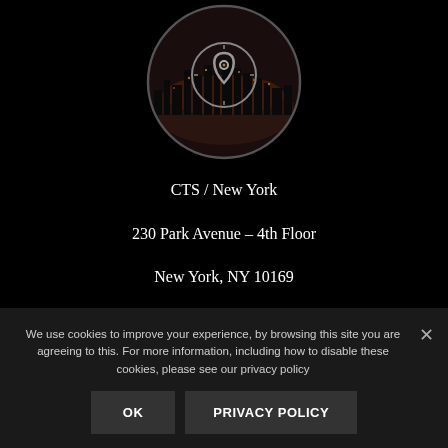[Figure (logo): Circular logo with city skyline aerial view (New York) and compass/location pin icon overlay, dark tones]
CTS / New York
230 Park Avenue – 4th Floor
New York, NY 10169
t: 212-333-3633
f: 888-398-0950
We use cookies to improve your experience, by browsing this site you are agreeing to this. For more information, including how to disable these cookies, please see our privacy policy